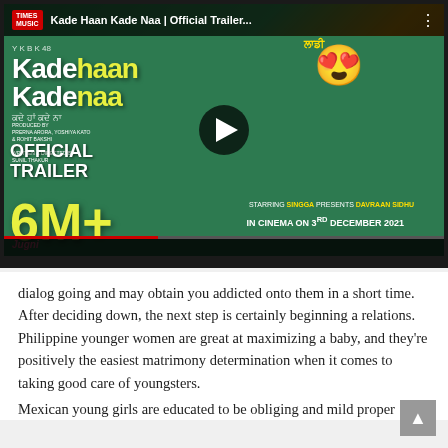[Figure (screenshot): YouTube-style video thumbnail for 'Kade Haan Kade Naa | Official Trailer' showing movie poster with two actors, Times Music logo, play button, 6M+ views count, IN CINEMA ON 3RD DECEMBER 2021 text, and a progress/control bar at bottom.]
dialog going and may obtain you addicted onto them in a short time. After deciding down, the next step is certainly beginning a relations. Philippine younger women are great at maximizing a baby, and they're positively the easiest matrimony determination when it comes to taking good care of youngsters.
Mexican young girls are educated to be obliging and mild proper